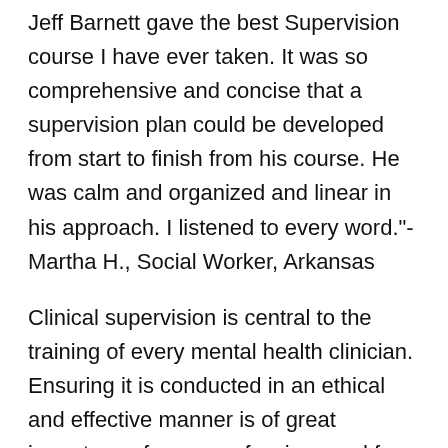Jeff Barnett gave the best Supervision course I have ever taken. It was so comprehensive and concise that a supervision plan could be developed from start to finish from his course. He was calm and organized and linear in his approach. I listened to every word."-Martha H., Social Worker, Arkansas
Clinical supervision is central to the training of every mental health clinician. Ensuring it is conducted in an ethical and effective manner is of great importance for our professions and for the public we serve. This webinar is designed for all health professionals engaged in clinical supervision of trainees in clinical settings. The focus of this webinar is on ethics, legal, and practical aspects of clinical supervision. Important issues to be addressed include the supervision contract between supervisor and supervisee; and the